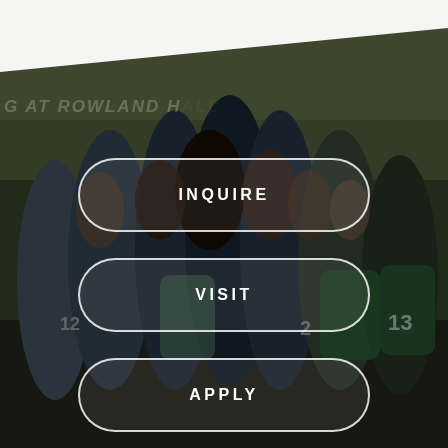[Figure (photo): Background photo of a girls soccer/rugby team huddled together on a sports field, wearing green and white jerseys. Dark overlay applied. Diagonal white shape at top. Watermark text partially visible reading 'G AT ROWLAND HALL' in italic style.]
INQUIRE
VISIT
APPLY